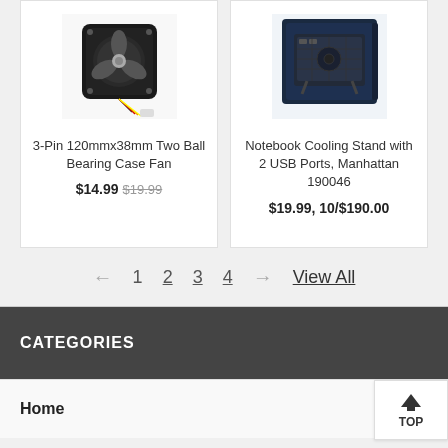[Figure (photo): 3-Pin 120mmx38mm Two Ball Bearing Case Fan product image - a black computer case fan with colored wires]
3-Pin 120mmx38mm Two Ball Bearing Case Fan
$14.99 $19.99
[Figure (photo): Notebook Cooling Stand with 2 USB Ports, Manhattan 190046 product image - a black notebook cooling stand in box packaging]
Notebook Cooling Stand with 2 USB Ports, Manhattan 190046
$19.99, 10/$190.00
← 1 2 3 4 → View All
CATEGORIES
Home